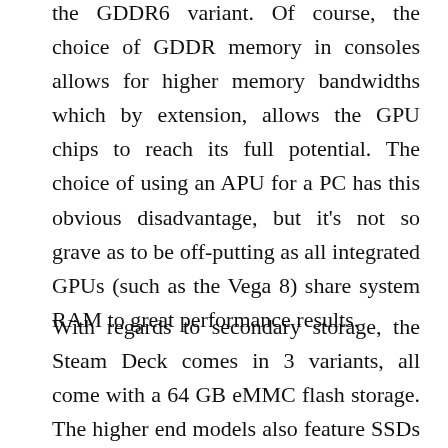the GDDR6 variant. Of course, the choice of GDDR memory in consoles allows for higher memory bandwidths which by extension, allows the GPU chips to reach its full potential. The choice of using an APU for a PC has this obvious disadvantage, but it's not so grave as to be off-putting as all integrated GPUs (such as the Vega 8) share system RAM to great performance results.
With regards to secondary storage, the Steam Deck comes in 3 variants, all come with a 64 GB eMMC flash storage. The higher end models also feature SSDs of 256 and 512 GB, which Steam Deck's official store page describes as being high speed NVMe. The storage option is the key feature